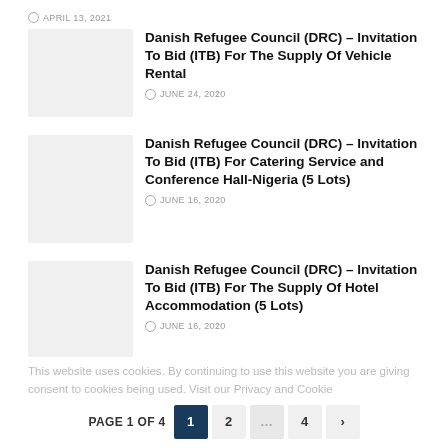APRIL 13, 2021
Danish Refugee Council (DRC) – Invitation To Bid (ITB) For The Supply Of Vehicle Rental
JUNE 24, 2020
Danish Refugee Council (DRC) – Invitation To Bid (ITB) For Catering Service and Conference Hall-Nigeria (5 Lots)
JUNE 16, 2020
Danish Refugee Council (DRC) – Invitation To Bid (ITB) For The Supply Of Hotel Accommodation (5 Lots)
JUNE 16, 2020
This website uses cookies. By continuing to use this website you are giving consent to cookies being used. Visit our Privacy and Cookie
PAGE 1 OF 4  1  2  ...  4  >